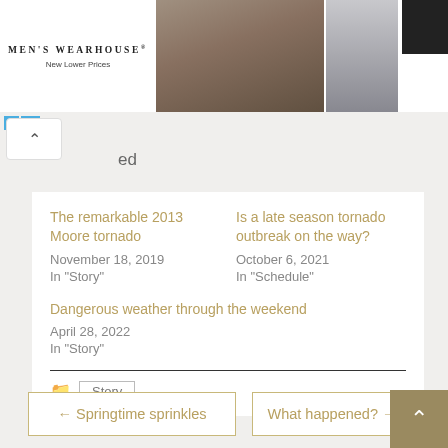[Figure (photo): Men's Wearhouse advertisement banner with logo, wedding couple photo, suit image, and black rectangle]
ed
The remarkable 2013 Moore tornado
November 18, 2019
In "Story"
Is a late season tornado outbreak on the way?
October 6, 2021
In "Schedule"
Dangerous weather through the weekend
April 28, 2022
In "Story"
Story
← Springtime sprinkles
What happened? →